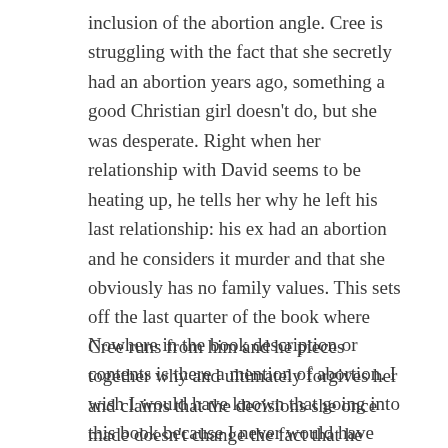inclusion of the abortion angle. Cree is struggling with the fact that she secretly had an abortion years ago, something a good Christian girl doesn't do, but she was desperate. Right when her relationship with David seems to be heating up, he tells her why he left his last relationship: his ex had an abortion and he considers it murder and that she obviously has no family values. This sets off the last quarter of the book where Cree runs from him and he pieces together why and ultimately forgives her and claims that the decisions she once made doesn't change the fact that he loves her.
Nowhere in the book description or contents is there a mention of abortion. I wish I would have known that going into this book because I never would have read